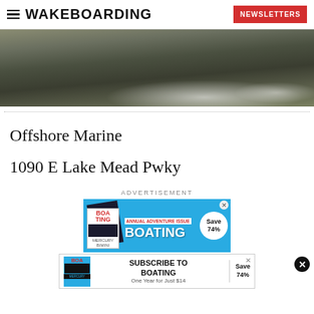WAKEBOARDING | NEWSLETTERS
[Figure (photo): Close-up photo of rocky terrain with white water/waves spray over dark rocks, cropped across the full width of the page.]
Offshore Marine
1090 E Lake Mead Pwky
ADVERTISEMENT
[Figure (other): Advertisement banner for Boating magazine subscription featuring magazine covers stacked, bold BOATING text, Save 74% bubble, and a bottom strip saying SUBSCRIBE TO BOATING, One Year for Just $14, Save 74%.]